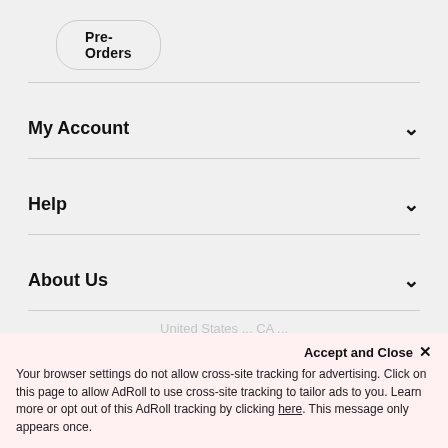Pre-Orders
My Account
Help
About Us
[Figure (illustration): Facebook, Instagram, and Twitter social media icons in black]
Accept and Close ×
Your browser settings do not allow cross-site tracking for advertising. Click on this page to allow AdRoll to use cross-site tracking to tailor ads to you. Learn more or opt out of this AdRoll tracking by clicking here. This message only appears once.
United States ... CA ...